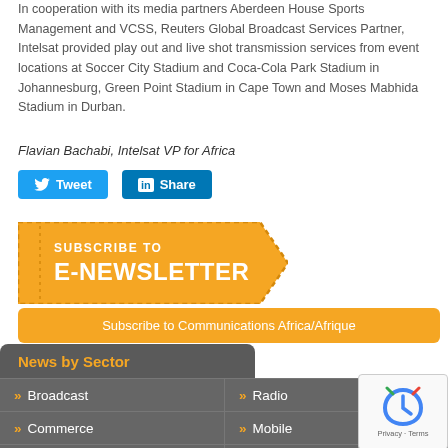In cooperation with its media partners Aberdeen House Sports Management and VCSS, Reuters Global Broadcast Services Partner, Intelsat provided play out and live shot transmission services from event locations at Soccer City Stadium and Coca-Cola Park Stadium in Johannesburg, Green Point Stadium in Cape Town and Moses Mabhida Stadium in Durban.
Flavian Bachabi, Intelsat VP for Africa
[Figure (other): Tweet and Share social media buttons (Twitter and LinkedIn)]
[Figure (infographic): Subscribe to E-Newsletter banner in orange with dashed border and chevron shape]
Subscribe to Communications Africa/Afrique
News by Sector
Broadcast
Radio
Commerce
Mobile
Internet
Satellite